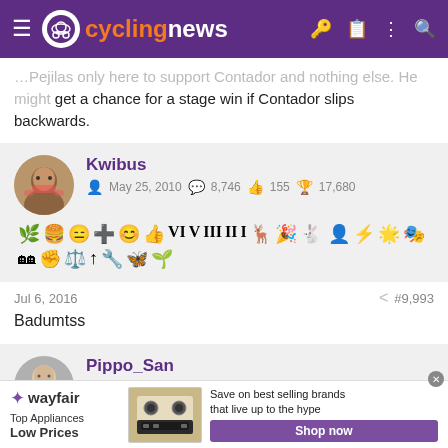cyclingnews
…Pejilas only here to support Contador and nothing else. He might get a chance for a stage win if Contador slips backwards.
Kwibus — May 25, 2010 — 8,746 — 155 — 17,680
Jul 6, 2016 #9,993
Badumtss
Pippo_San